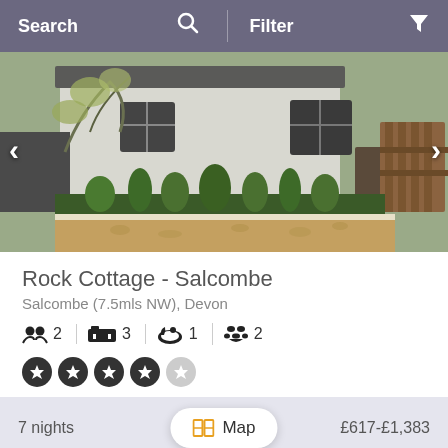Search   Filter
[Figure (photo): Exterior photo of Rock Cottage showing white-rendered cottage with climbing plants, garden border with ornamental grasses, and gravel path with wooden gate on right. Navigation arrows visible on left and right sides.]
Rock Cottage - Salcombe
Salcombe (7.5mls NW), Devon
👥 2  🛏 3  🛁 1  🐾 2
[Figure (infographic): 4 filled star rating circles and 1 empty/grey star circle — 4 out of 5 stars rating]
7 nights   Map   £617-£1,383
[Figure (photo): Partial view of next property listing showing blue sky and tree tops]